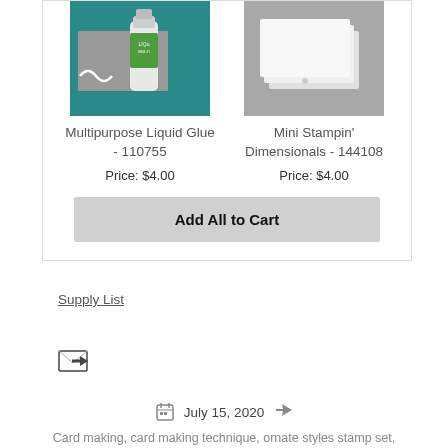[Figure (photo): Photo of Multipurpose Liquid Glue product on teal background]
Multipurpose Liquid Glue - 110755
Price: $4.00
[Figure (photo): Photo of Mini Stampin' Dimensionals product - small white foam squares on grey background]
Mini Stampin' Dimensionals - 144108
Price: $4.00
Add All to Cart
Supply List
[Figure (other): Email forward icon]
July 15, 2020
Card making, card making technique, ornate styles stamp set,